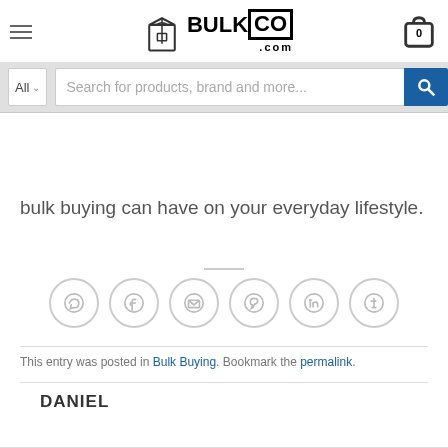BulkCo.com logo, hamburger menu, cart icon
Becoming a 'bulker' isn't something you may have ever thought about, but that you'll always appreciate the positive impact that bulk buying can have on your everyday lifestyle.
[Figure (screenshot): Search bar with All dropdown and search field reading 'Search for products, brand and more...' with blue search button]
[Figure (infographic): Six social sharing icons in circles: WhatsApp, Facebook, Email, Pinterest, LinkedIn, Tumblr]
This entry was posted in Bulk Buying. Bookmark the permalink.
DANIEL